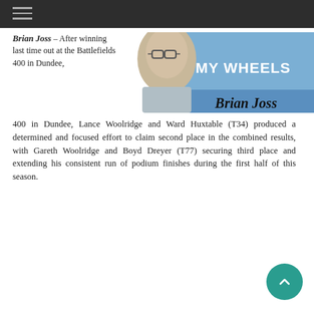Brian Joss – After winning last time out at the Battlefields 400 in Dundee, Lance Woolridge and Ward Huxtable (T34) produced a determined and focused effort to claim second place in the combined results, with Gareth Woolridge and Boyd Dreyer (T77) securing third place and extending his consistent run of podium finishes during the first half of this season.
[Figure (illustration): OFF MY WHEELS Brian Joss column banner with photo of Brian Joss (man with glasses) on blue background]